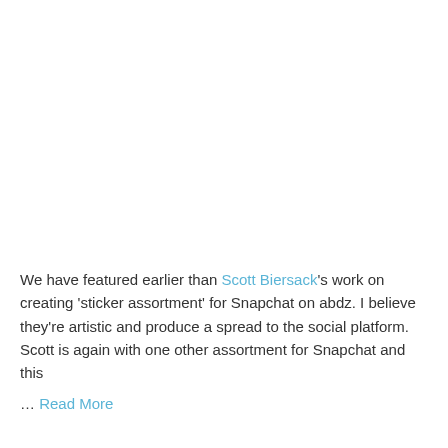We have featured earlier than Scott Biersack's work on creating 'sticker assortment' for Snapchat on abdz. I believe they're artistic and produce a spread to the social platform. Scott is again with one other assortment for Snapchat and this
… Read More